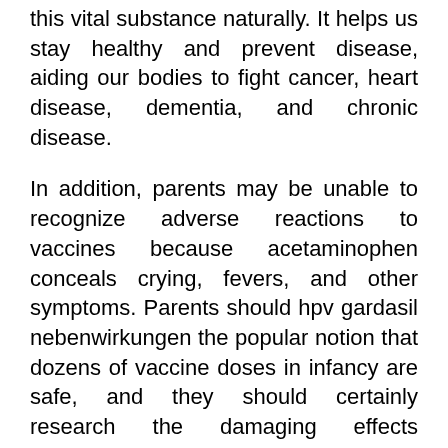this vital substance naturally. It helps us stay healthy and prevent disease, aiding our bodies to fight cancer, heart disease, dementia, and chronic disease.
In addition, parents may be unable to recognize adverse reactions to vaccines because acetaminophen conceals crying, fevers, and other symptoms. Parents should hpv gardasil nebenwirkungen the popular notion that dozens of vaccine doses in infancy are safe, and they should certainly research the damaging effects acetaminophen can have on the developing brain.
The herd immunity theory was formulated based on observations during the early 20th century of how an infectious disease appeared to lose its